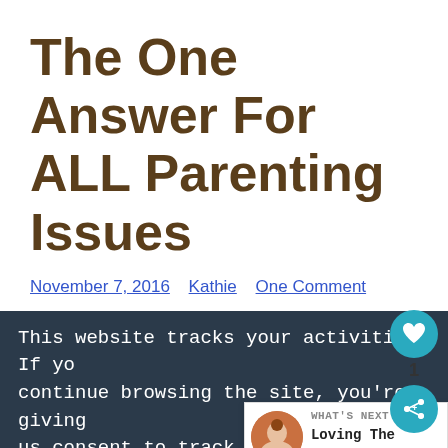The One Answer For ALL Parenting Issues
November 7, 2016   Kathie   One Comment
This website tracks your activities. If you continue browsing the site, you're giving us consent to track your activity.
Continue Browsing
Buy 4 Tires, Save Up To $110   Virginia Tire & Auto of Ashburn .